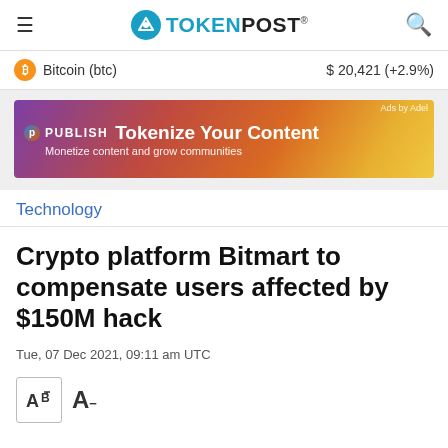TOKENPOST®
Bitcoin (btc)   $ 20,421 (+2.9%)
[Figure (illustration): Publish platform advertisement banner: 'Tokenize Your Content - Monetize content and grow communities']
Technology
Crypto platform Bitmart to compensate users affected by $150M hack
Tue, 07 Dec 2021, 09:11 am UTC
[Figure (other): Font size controls: increase and decrease text size buttons]